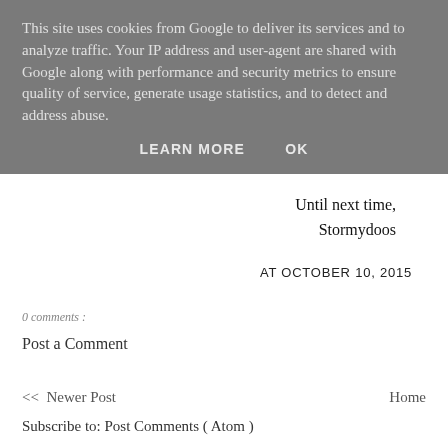This site uses cookies from Google to deliver its services and to analyze traffic. Your IP address and user-agent are shared with Google along with performance and security metrics to ensure quality of service, generate usage statistics, and to detect and address abuse.
LEARN MORE    OK
Until next time,
Stormydoos
AT OCTOBER 10, 2015
0 comments :
Post a Comment
<< Newer Post
Home
Subscribe to: Post Comments ( Atom )